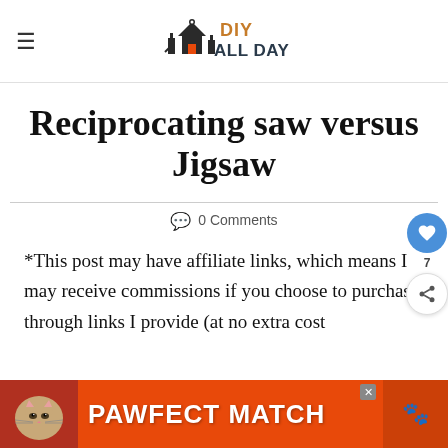≡   DIY ALL DAY
Reciprocating saw versus Jigsaw
0 Comments
*This post may have affiliate links, which means I may receive commissions if you choose to purchase through links I provide (at no extra cost to...
[Figure (infographic): PAWFECT MATCH advertisement banner with cat image on orange background]